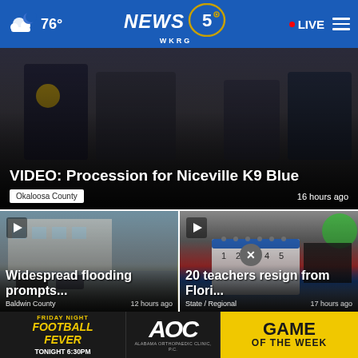76° NEWS 5 WKRG • LIVE
[Figure (screenshot): Hero image showing police/military officers at a procession ceremony, dark background]
VIDEO: Procession for Niceville K9 Blue
Okaloosa County   16 hours ago
[Figure (screenshot): Flooded parking lot with vehicles surrounded by floodwater, apartment building in background]
Widespread flooding prompts...
Baldwin County   12 hours ago
[Figure (screenshot): Calendar and school supplies on colorful background]
20 teachers resign from Florida...
State / Regional   17 hours ago
[Figure (screenshot): Ad banner: Friday Night Football Fever - AOC Alabama Orthopaedic Clinic - Game of the Week Tonight 6:30PM]